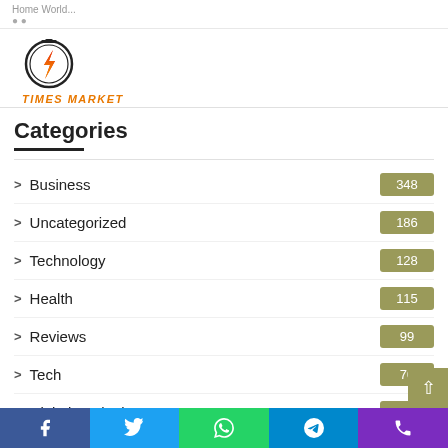Home World...
[Figure (logo): Times Market logo — stopwatch icon with lightning bolt in red/orange, text TIMES MARKET in orange below]
Categories
Business 348
Uncategorized 186
Technology 128
Health 115
Reviews 99
Tech 70
Digital Marketing & SEO 57
Education
General